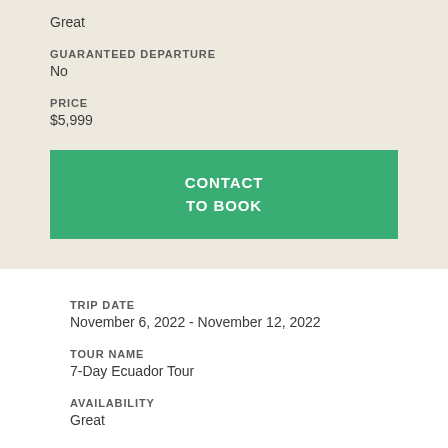Great
GUARANTEED DEPARTURE
No
PRICE
$5,999
CONTACT TO BOOK
TRIP DATE
November 6, 2022 - November 12, 2022
TOUR NAME
7-Day Ecuador Tour
AVAILABILITY
Great
GUARANTEED DEPARTURE